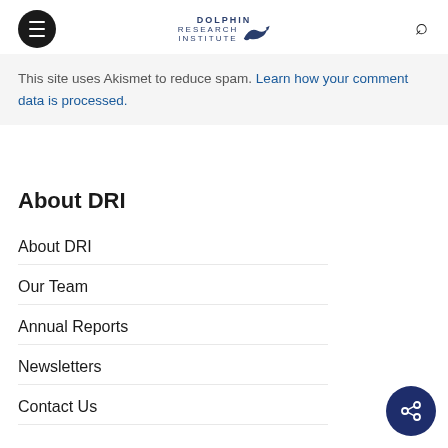Dolphin Research Institute (logo and navigation header)
This site uses Akismet to reduce spam. Learn how your comment data is processed.
About DRI
About DRI
Our Team
Annual Reports
Newsletters
Contact Us